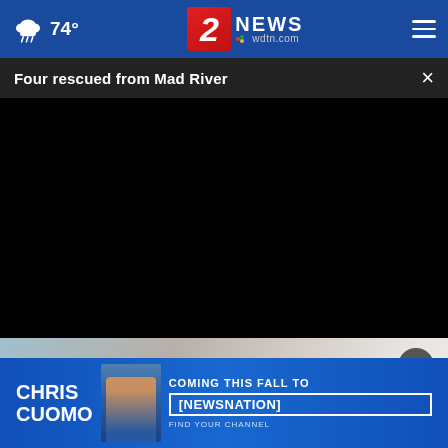74° | 2 NEWS wdtn.com
Four rescued from Mad River
[Figure (screenshot): Black video player area (video not loaded)]
[Figure (photo): Blurred article image, close-up of a person or object with blurred background]
[Figure (infographic): Advertisement banner: CHRIS CUOMO - COMING THIS FALL TO [NEWSNATION] FIND YOUR CHANNEL]